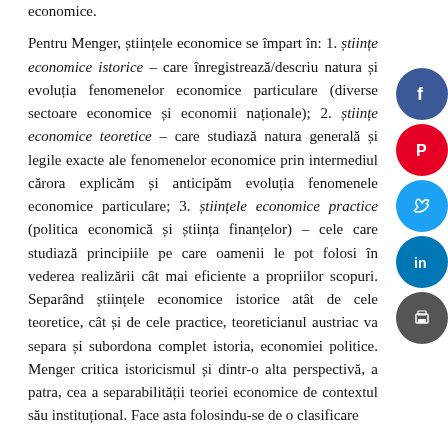economice. Pentru Menger, științele economice se împart în: 1. științe economice istorice – care înregistrează/descriu natura și evoluția fenomenelor economice particulare (diverse sectoare economice și economii naționale); 2. științe economice teoretice – care studiază natura generală și legile exacte ale fenomenelor economice prin intermediul cărora explicăm și anticipăm evoluția fenomenele economice particulare; 3. științele economice practice (politica economică și știința finanțelor) – cele care studiază principiile pe care oamenii le pot folosi în vederea realizării cât mai eficiente a propriilor scopuri. Separând științele economice istorice atât de cele teoretice, cât și de cele practice, teoreticianul austriac va separa și subordona complet istoria, economiei politice. Menger critica istoricismul și dintr-o alta perspectivă, a patra, cea a separabilității teoriei economice de contextul său instituțional. Face asta folosindu-se de o clasificare